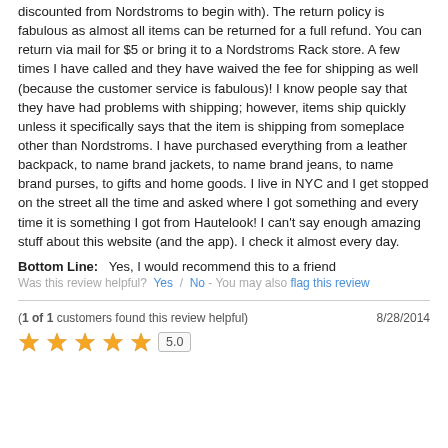discounted from Nordstroms to begin with). The return policy is fabulous as almost all items can be returned for a full refund. You can return via mail for $5 or bring it to a Nordstroms Rack store. A few times I have called and they have waived the fee for shipping as well (because the customer service is fabulous)! I know people say that they have had problems with shipping; however, items ship quickly unless it specifically says that the item is shipping from someplace other than Nordstroms. I have purchased everything from a leather backpack, to name brand jackets, to name brand jeans, to name brand purses, to gifts and home goods. I live in NYC and I get stopped on the street all the time and asked where I got something and every time it is something I got from Hautelook! I can't say enough amazing stuff about this website (and the app). I check it almost every day.
Bottom Line: Yes, I would recommend this to a friend
Was this review helpful? Yes / No - You may also flag this review
(1 of 1 customers found this review helpful)
8/28/2014
[Figure (other): Five orange star rating icons followed by a score box showing 5.0]